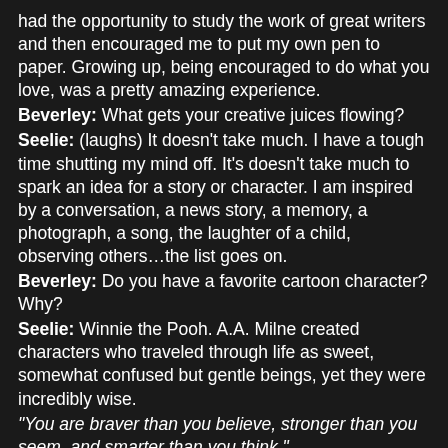had the opportunity to study the work of great writers and then encouraged me to put my own pen to paper. Growing up, being encouraged to do what you love, was a pretty amazing experience.
Beverley: What gets your creative juices flowing?
Seelie: (laughs) It doesn't take much. I have a tough time shutting my mind off. It's doesn't take much to spark an idea for a story or character. I am inspired by a conversation, a news story, a memory, a photograph, a song, the laughter of a child, observing others…the list goes on.
Beverley: Do you have a favorite cartoon character? Why?
Seelie: Winnie the Pooh. A.A. Milne created characters who traveled through life as sweet, somewhat confused but gentle beings, yet they were incredibly wise.
“You are braver than you believe, stronger than you seem, and smarter than you think.”
“If you live to be a hundred, I want to live to be a hundred minus one day so I never have to live without you.”
I probably quote Winnie the Pooh more than anyone else!
Beverley: Who would you love most to meet 'in person' and why?
Seelie: Hands down, Benjamin Franklin. I adore smart.